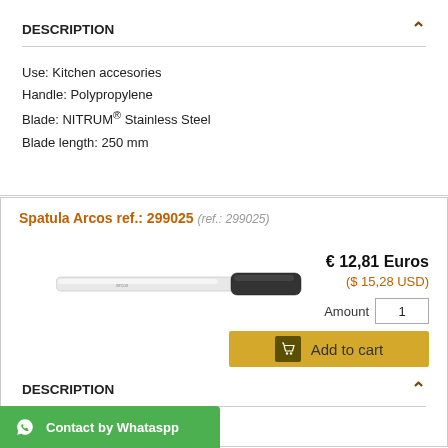DESCRIPTION
Use: Kitchen accesories
Handle: Polypropylene
Blade: NITRUM® Stainless Steel
Blade length: 250 mm
Spatula Arcos ref.: 299025 (ref.: 299025)
€ 12,81 Euros
($ 15,28 USD)
DESCRIPTION
Use: Kitchen accesories
Handle: Polypropylene
Blade: NITRUM® Stainless Steel